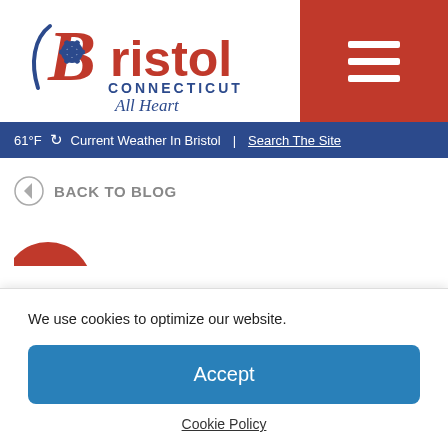[Figure (logo): Bristol Connecticut All Heart logo — red stylized B with gear, blue script text]
61°F ↻ Current Weather In Bristol | Search The Site
◄ BACK TO BLOG
[Figure (illustration): Partial red circular avatar/profile icon]
We use cookies to optimize our website.
Accept
Cookie Policy